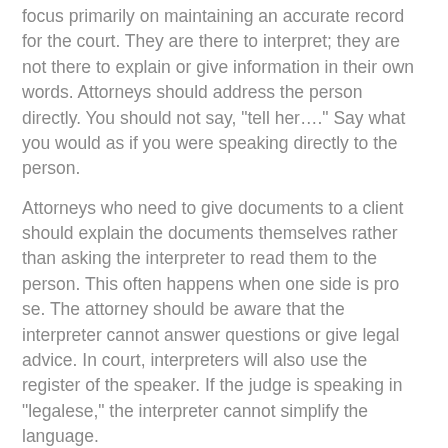focus primarily on maintaining an accurate record for the court. They are there to interpret; they are not there to explain or give information in their own words. Attorneys should address the person directly. You should not say, "tell her...." Say what you would as if you were speaking directly to the person.
Attorneys who need to give documents to a client should explain the documents themselves rather than asking the interpreter to read them to the person. This often happens when one side is pro se. The attorney should be aware that the interpreter cannot answer questions or give legal advice. In court, interpreters will also use the register of the speaker. If the judge is speaking in "legalese," the interpreter cannot simplify the language.
JJB: I know that the standards and procedures are available online, but what if I am having a problem with an interpreter? Where do I go to make a complaint?